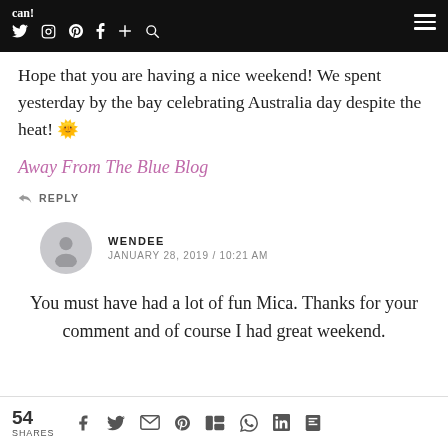can! [navigation icons: Twitter, Instagram, Pinterest, Facebook, Plus, Search] [hamburger menu]
Hope that you are having a nice weekend! We spent yesterday by the bay celebrating Australia day despite the heat! 🌞
Away From The Blue Blog
↩ REPLY
WENDEE
JANUARY 28, 2019 / 10:21 AM
You must have had a lot of fun Mica. Thanks for your comment and of course I had great weekend.
54 SHARES [social share icons: Facebook, Twitter, Email, Pinterest, Mix, WhatsApp, LinkedIn, Flipboard]